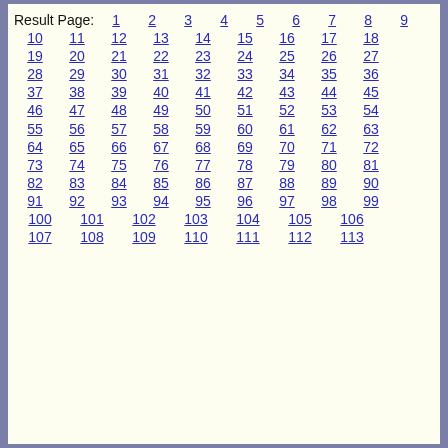Result Page: 1 2 3 4 5 6 7 8 9 10 11 12 13 14 15 16 17 18 19 20 21 22 23 24 25 26 27 28 29 30 31 32 33 34 35 36 37 38 39 40 41 42 43 44 45 46 47 48 49 50 51 52 53 54 55 56 57 58 59 60 61 62 63 64 65 66 67 68 69 70 71 72 73 74 75 76 77 78 79 80 81 82 83 84 85 86 87 88 89 90 91 92 93 94 95 96 97 98 99 100 101 102 103 104 105 106 107 108 109 110 111 112 113